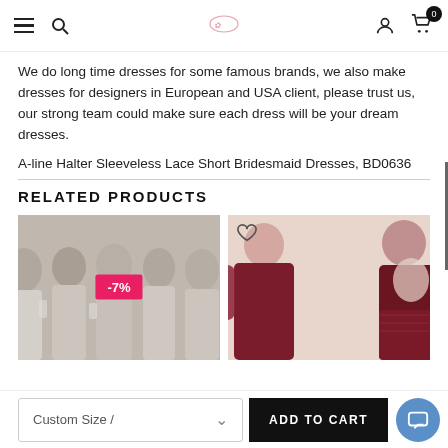Navigation bar with menu, search, logo, account, and cart (0 items)
We do long time dresses for some famous brands, we also make dresses for designers in European and USA client, please trust us, our strong team could make sure each dress will be your dream dresses.
A-line Halter Sleeveless Lace Short Bridesmaid Dresses, BD0636
RELATED PRODUCTS
[Figure (photo): Group of bridesmaids in beige/champagne dresses holding glasses, with a -7% discount badge overlay]
[Figure (photo): A woman in a burgundy/wine long sleeve open-back dress with lace detail]